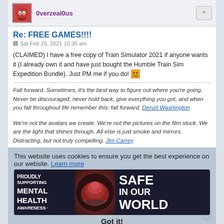0verzeal0us
Re: FREE GAMES!!!!
Sat Feb 20, 2021 10:35 am
(CLAIMED) I have a free copy of Train Simulator 2021 if anyone wants it (I already own it and have just bought the Humble Train Sim Expedition Bundle). Just PM me if you do!
Fall forward. Sometimes, it's the best way to figure out where you're going. Never be discouraged, never hold back, give everything you got, and when you fall throughout life remember this: fall forward. Denzil Washington
We're not the avatars we create. We're not the pictures on the film stock. We are the light that shines through. All else is just smoke and mirrors. Distracting, but not truly compelling. Jim Carrey
This website uses cookies to ensure you get the best experience on our website. Learn more
[Figure (logo): Safe In Our World mental health awareness gaming logo banner]
Got it!
I am neurodiverse and communication can be difficult for me. If you would like to know more about neurodiversity, please click here.